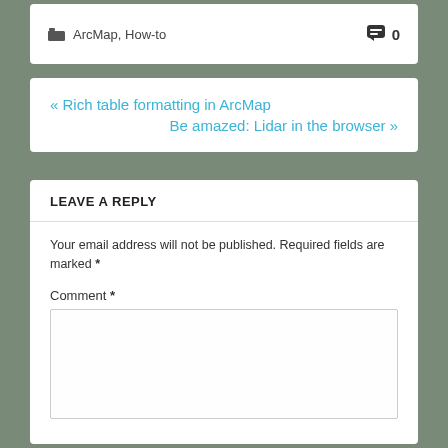ArcMap, How-to   0
« Rich table formatting in ArcMap
Be amazed: Lidar in the browser »
LEAVE A REPLY
Your email address will not be published. Required fields are marked *
Comment *